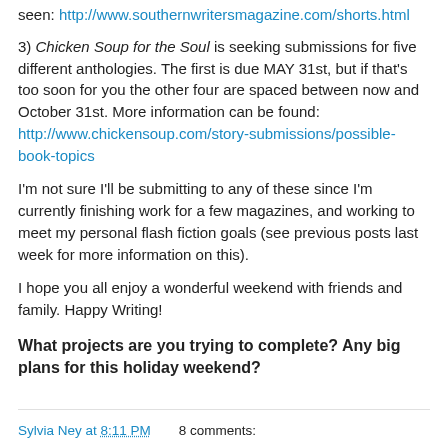seen: http://www.southernwritersmagazine.com/shorts.html
3) Chicken Soup for the Soul is seeking submissions for five different anthologies. The first is due MAY 31st, but if that's too soon for you the other four are spaced between now and October 31st. More information can be found: http://www.chickensoup.com/story-submissions/possible-book-topics
I'm not sure I'll be submitting to any of these since I'm currently finishing work for a few magazines, and working to meet my personal flash fiction goals (see previous posts last week for more information on this).
I hope you all enjoy a wonderful weekend with friends and family. Happy Writing!
What projects are you trying to complete? Any big plans for this holiday weekend?
Sylvia Ney at 8:11 PM   8 comments: